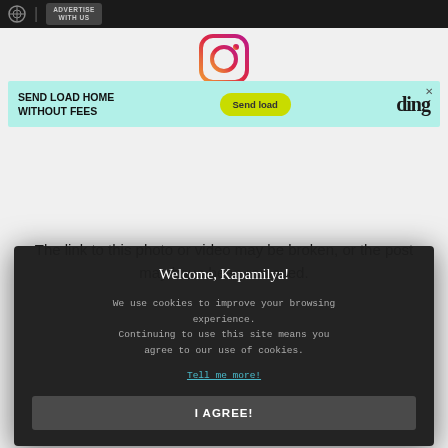ADVERTISE WITH US
[Figure (logo): Instagram logo icon]
[Figure (screenshot): Advertisement banner: SEND LOAD HOME WITHOUT FEES — Send load — ding]
The link to this photo or video may be broken, or the post may have been removed.
Welcome, Kapamilya! We use cookies to improve your browsing experience. Continuing to use this site means you agree to our use of cookies. Tell me more! I AGREE!